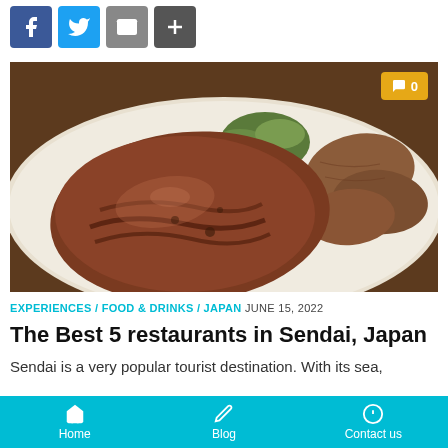[Figure (other): Social media share icons: Facebook (blue), Twitter (light blue), Mail (grey), Plus/Share (dark grey)]
[Figure (photo): Photo of grilled beef tongue (gyutan) slices on a white plate with green vegetables, a food blog hero image for article about best restaurants in Sendai Japan. Orange comment badge showing 0 comments in top right corner.]
EXPERIENCES / FOOD & DRINKS / JAPAN JUNE 15, 2022
The Best 5 restaurants in Sendai, Japan
Sendai is a very popular tourist destination. With its sea,
Home | Blog | Contact us